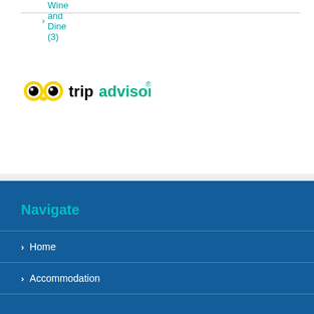> Wine and Dine (3)
[Figure (logo): TripAdvisor logo with owl eyes icon and tripadvisor text in green and black]
Navigate
> Home
> Accommodation